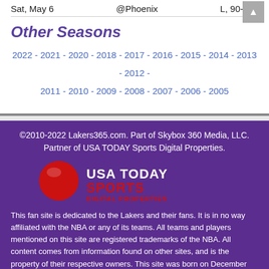Sat, May 6   @Phoenix   L, 90-121
Other Seasons
2022 - 2021 - 2020 - 2018 - 2017 - 2016 - 2015 - 2014 - 2013 - 2012 - 2011 - 2010 - 2009 - 2008 - 2007 - 2006 - 2005
©2010-2022 Lakers365.com. Part of Skybox 360 Media, LLC. Partner of USA TODAY Sports Digital Properties.
[Figure (logo): USA TODAY Sports Digital Properties logo with red circle and bold text]
This fan site is dedicated to the Lakers and their fans. It is in no way affiliated with the NBA or any of its teams. All teams and players mentioned on this site are registered trademarks of the NBA. All content comes from information found on other sites, and is the property of their respective owners. This site was born on December 30, 2010.
Contact Us | Privacy Statement